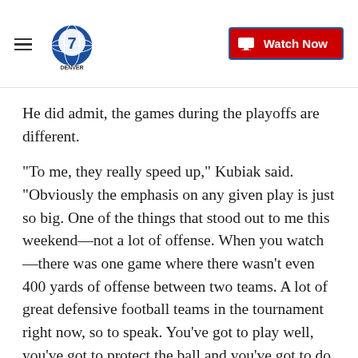DENVER7 | Watch Now
He did admit, the games during the playoffs are different.
"To me, they really speed up," Kubiak said. "Obviously the emphasis on any given play is just so big. One of the things that stood out to me this weekend—not a lot of offense. When you watch—there was one game where there wasn't even 400 yards of offense between two teams. A lot of great defensive football teams in the tournament right now, so to speak. You've got to play well, you've got to protect the ball and you've got to do all the little things if you expect to win this time of year."